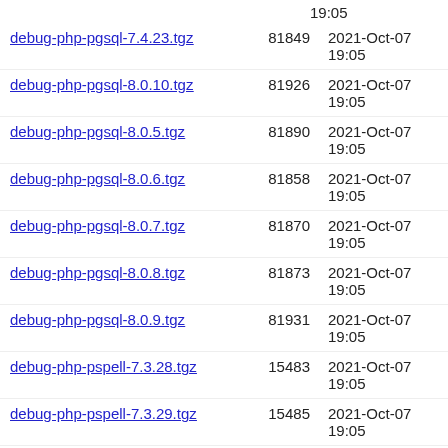(partial row top) 19:05
debug-php-pgsql-7.4.23.tgz  81849  2021-Oct-07 19:05
debug-php-pgsql-8.0.10.tgz  81926  2021-Oct-07 19:05
debug-php-pgsql-8.0.5.tgz  81890  2021-Oct-07 19:05
debug-php-pgsql-8.0.6.tgz  81858  2021-Oct-07 19:05
debug-php-pgsql-8.0.7.tgz  81870  2021-Oct-07 19:05
debug-php-pgsql-8.0.8.tgz  81873  2021-Oct-07 19:05
debug-php-pgsql-8.0.9.tgz  81931  2021-Oct-07 19:05
debug-php-pspell-7.3.28.tgz  15483  2021-Oct-07 19:05
debug-php-pspell-7.3.29.tgz  15485  2021-Oct-07 19:05
debug-php-pspell-7.3.30.tgz  15484  2021-Oct-07 19:05
debug-php-pspell-7.4.18.tgz  15928  2021-Oct-07 19:05